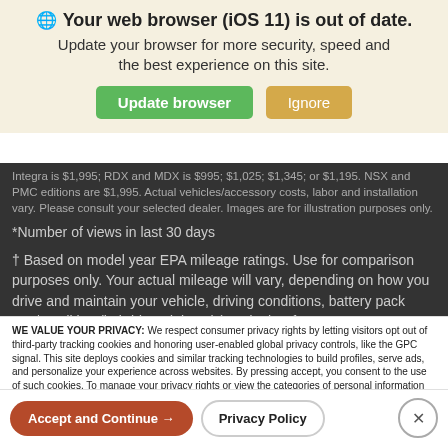[Figure (screenshot): Browser update notification banner with globe icon, bold title 'Your web browser (iOS 11) is out of date.', subtitle text, and two buttons: 'Update browser' (green) and 'Ignore' (tan/orange).]
Integra is $1,995; RDX and MDX is $995; $1,025; $1,345; or $1,195. NSX and PMC editions are $1,995. Actual vehicles/accessory costs, labor and installation vary. Please consult your selected dealer. Images are for illustration purposes only.
*Number of views in last 30 days
† Based on model year EPA mileage ratings. Use for comparison purposes only. Your actual mileage will vary, depending on how you drive and maintain your vehicle, driving conditions, battery pack age/condition (hybrid models only) and other factors.
WE VALUE YOUR PRIVACY: We respect consumer privacy rights by letting visitors opt out of third-party tracking cookies and honoring user-enabled global privacy controls, like the GPC signal. This site deploys cookies and similar tracking technologies to build profiles, serve ads, and personalize your experience across websites. By pressing accept, you consent to the use of such cookies. To manage your privacy rights or view the categories of personal information we collect and the purposes for which the information is used, click here.
Language: English ✓   Powered by ComplyAuto
Accept and Continue →   Privacy Policy   ×